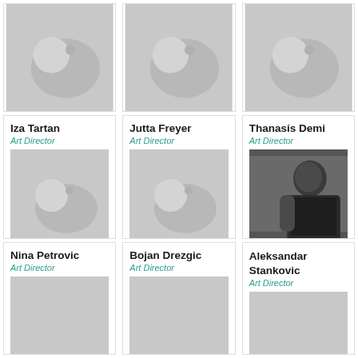[Figure (photo): Placeholder profile photo card (top row, partial view)]
[Figure (photo): Placeholder profile photo card (top row, partial view)]
[Figure (photo): Placeholder profile photo card (top row, partial view, cropped)]
Iza Tartan
Art Director
[Figure (photo): Placeholder profile photo for Iza Tartan]
Jutta Freyer
Art Director
[Figure (photo): Placeholder profile photo for Jutta Freyer]
Thanasis Demi
Art Director
[Figure (photo): Black and white photo of Thanasis Demi, man in dark shirt looking sideways]
Nina Petrovic
Art Director
[Figure (photo): Placeholder profile photo for Nina Petrovic (partial)]
Bojan Drezgic
Art Director
[Figure (photo): Placeholder profile photo for Bojan Drezgic (partial)]
Aleksandar Stankovic
Art Director
[Figure (photo): Placeholder profile photo for Aleksandar Stankovic (partial)]